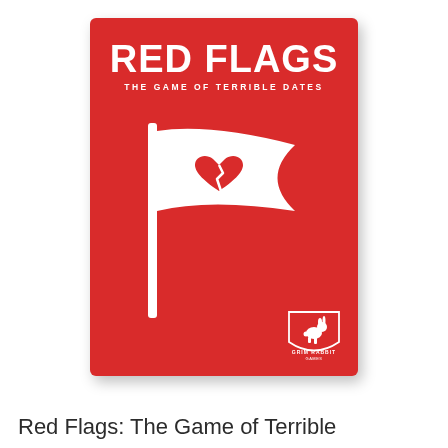[Figure (photo): Product photo of the Red Flags card game box. Red box with white bold text 'RED FLAGS' at top, subtitle 'THE GAME OF TERRIBLE DATES', white flag graphic with a broken red heart in the center, and a small Grim Rabbit Games logo in the bottom right corner.]
Red Flags: The Game of Terrible